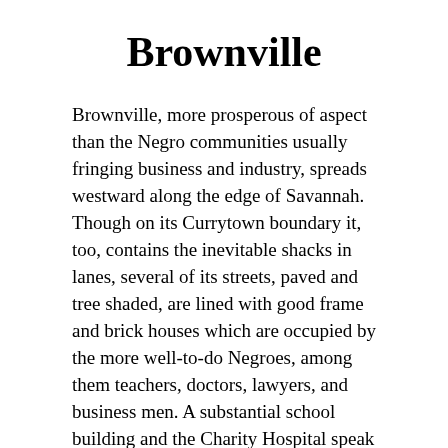Brownville
Brownville, more prosperous of aspect than the Negro communities usually fringing business and industry, spreads westward along the edge of Savannah. Though on its Currytown boundary it, too, contains the inevitable shacks in lanes, several of its streets, paved and tree shaded, are lined with good frame and brick houses which are occupied by the more well-to-do Negroes, among them teachers, doctors, lawyers, and business men. A substantial school building and the Charity Hospital speak of advanced social consciousness.
On Bismark Street is found the House of Prayer, one of the many churches established throughout the country by Bishop Grace. Here several times each year the leader visits his congregation, and the day on which "Daddy Grace"